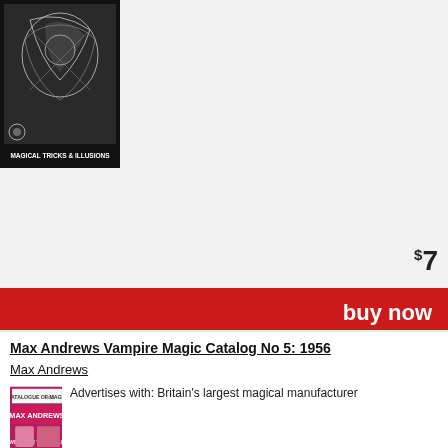[Figure (photo): Book cover image for a magic tricks and illusions catalog, black and white image with 'MAGICAL TRICKS & ILLUSIONS' text at bottom]
$7
buy now
add to cart
to wish list
PDF_facsimile
Max Andrews Vampire Magic Catalog No 5: 1956
Max Andrews
[Figure (photo): Thumbnail of Max Andrews Catalogue of Magic No 5 cover, pink/magenta background with 'WE COVER THE WORLD' text]
Advertises with: Britain's largest magical manufacturer